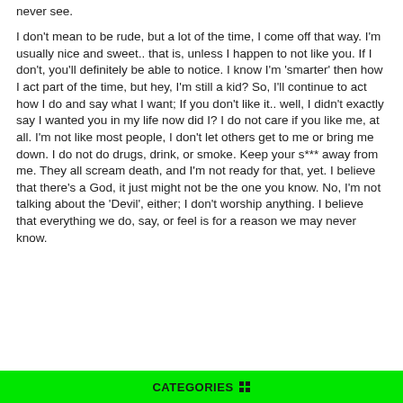never see.
I don't mean to be rude, but a lot of the time, I come off that way. I'm usually nice and sweet.. that is, unless I happen to not like you. If I don't, you'll definitely be able to notice. I know I'm 'smarter' then how I act part of the time, but hey, I'm still a kid? So, I'll continue to act how I do and say what I want; If you don't like it.. well, I didn't exactly say I wanted you in my life now did I? I do not care if you like me, at all. I'm not like most people, I don't let others get to me or bring me down. I do not do drugs, drink, or smoke. Keep your s*** away from me. They all scream death, and I'm not ready for that, yet. I believe that there's a God, it just might not be the one you know. No, I'm not talking about the 'Devil', either; I don't worship anything. I believe that everything we do, say, or feel is for a reason we may never know.
CATEGORIES